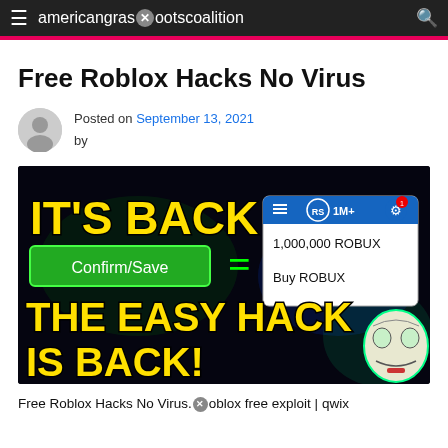americangrassrootscoalition
Free Roblox Hacks No Virus
Posted on September 13, 2021 by
[Figure (screenshot): Promotional image for Roblox hack showing yellow bold text 'IT'S BACK', a green Confirm/Save button, equals sign, 1,000,000 ROBUX displayed in a popup panel, large yellow text 'THE EASY HACK IS BACK!' and an Anonymous/Guy Fawkes mask on black background.]
Free Roblox Hacks No Virus. roblox free exploit | qwix